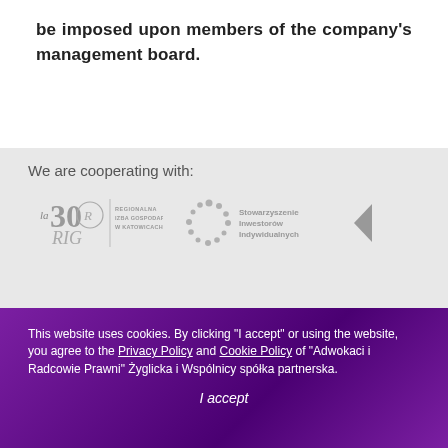be imposed upon members of the company's management board.
We are cooperating with:
[Figure (logo): Logo of Regionalna Izba Gospodarcza w Katowicach (30 years RIG)]
[Figure (logo): Logo of Stowarzyszenie Inwestorów Indywidualnych]
[Figure (illustration): Left-pointing chevron/arrow icon]
This website uses cookies. By clicking “I accept” or using the website, you agree to the Privacy Policy and Cookie Policy of “Adwokaci i Radcowie Prawni” Żyglicka i Wspólnicy spółka partnerska.
I accept